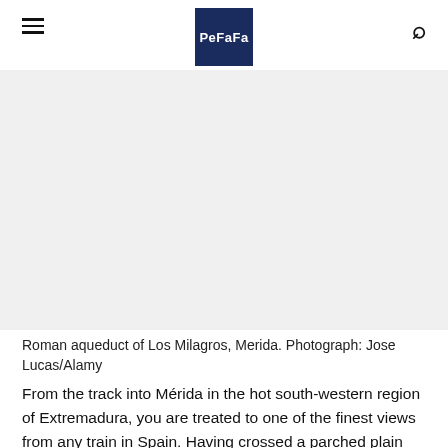PeFaFa
[Figure (photo): Roman aqueduct of Los Milagros, Merida — placeholder image area (photo not shown)]
Roman aqueduct of Los Milagros, Merida. Photograph: Jose Lucas/Alamy
From the track into Mérida in the hot south-western region of Extremadura, you are treated to one of the finest views from any train in Spain. Having crossed a parched plain into the